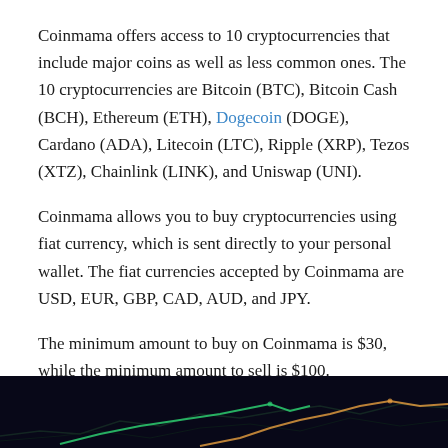Coinmama offers access to 10 cryptocurrencies that include major coins as well as less common ones. The 10 cryptocurrencies are Bitcoin (BTC), Bitcoin Cash (BCH), Ethereum (ETH), Dogecoin (DOGE), Cardano (ADA), Litecoin (LTC), Ripple (XRP), Tezos (XTZ), Chainlink (LINK), and Uniswap (UNI).
Coinmama allows you to buy cryptocurrencies using fiat currency, which is sent directly to your personal wallet. The fiat currencies accepted by Coinmama are USD, EUR, GBP, CAD, AUD, and JPY.
The minimum amount to buy on Coinmama is $30, while the minimum amount to sell is $100.
Buy transaction fees can be as low as 2.38% or as high at 3.83%. Sell transaction fees range from 0.91% up to 1.87%.
[Figure (photo): Dark image strip at the bottom of the page showing a dark background with faint colored lines/curves in green and orange tones, resembling a trading chart or abstract graphic.]